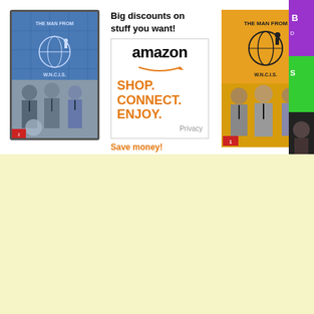[Figure (photo): DVD cover of The Man from U.N.C.L.E. showing three men in suits with a globe and world map background, dark gray border]
Big discounts on stuff you want!
[Figure (logo): Amazon advertisement box with amazon logo, SHOP. CONNECT. ENJOY. in orange text, Privacy link, white background with gray border]
Save money!
[Figure (photo): DVD cover of The Man from U.N.C.L.E. Volume 1 with orange background, globe logo, and three men in suits]
[Figure (photo): Partially visible DVD cover with purple/green background, partially cut off on right edge]